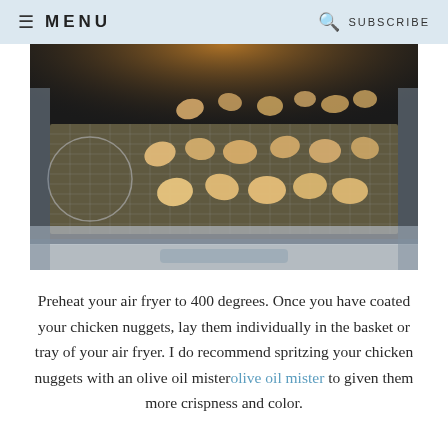≡ MENU   🔍 SUBSCRIBE
[Figure (photo): Chicken nuggets on a mesh air fryer tray inside an oven/air fryer, lit from above with warm light]
Preheat your air fryer to 400 degrees. Once you have coated your chicken nuggets, lay them individually in the basket or tray of your air fryer. I do recommend spritzing your chicken nuggets with an olive oil misterolive oil mister to given them more crispness and color.